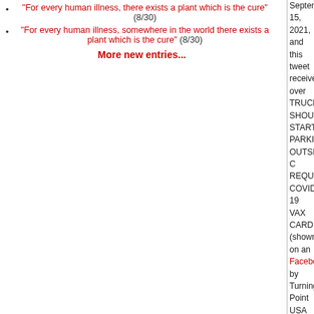"For every human illness, there exists a plant which is the cure" (8/30)
"For every human illness, somewhere in the world there exists a plant which is the cure" (8/30)
More new entries...
September 15, 2021, and this tweet received over TRUCKS SHOULD START PARKING OUTSIDE C REQUIRE COVID-19 VAX CARDS" (shown on an Facebook by Turning Point USA on September 20
Wikipedia: COVID-19 pandemic
The COVID-19 pandemic, also known as the coro ongoing pandemic of coronavirus disease 2019 (C acute respiratory syndrome coronavirus 2 (SARS- December 2019 in Wuhan, China. The outbreak w Emergency of International Concern in January 20 2020.
Twitter
Chris R
@theguy_from_stl
Food trucks should park outside of restaurants req they can see how much business they're losing.
2:04 PM · Sep 3, 2021·Twitter for iPhone
Twitter
Matt Couch
@RealMattCouch
Food Trucks should park outside every restauran